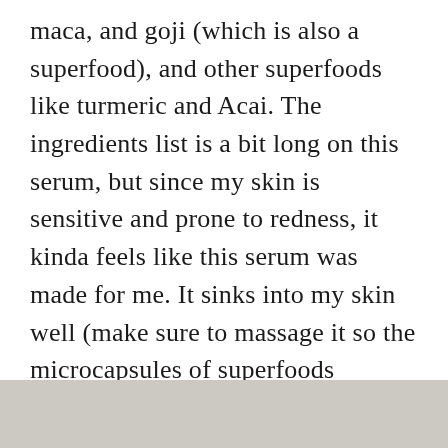maca, and goji (which is also a superfood), and other superfoods like turmeric and Acai. The ingredients list is a bit long on this serum, but since my skin is sensitive and prone to redness, it kinda feels like this serum was made for me. It sinks into my skin well (make sure to massage it so the microcapsules of superfoods dissolve), and I like that it layers well with my toners, essences, and other skincare potions. Because it’s so expensive I would need to use the entire bottle to decide if I saw results worthy of a repurchase, but I’m stoked about trying it at a steep discount through NewBeauty.
[Figure (photo): Partial view of a product image on a light gray background, cropped at the bottom of the page.]